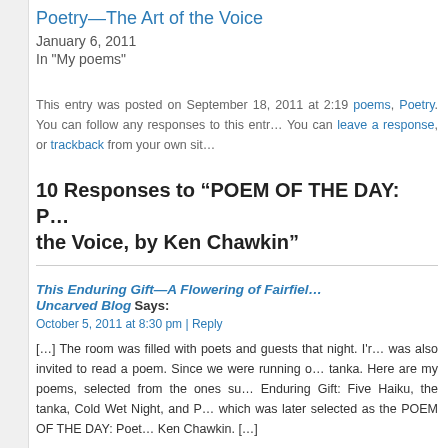Poetry—The Art of the Voice
January 6, 2011
In "My poems"
This entry was posted on September 18, 2011 at 2:19... poems, Poetry. You can follow any responses to this entr... You can leave a response, or trackback from your own sit...
10 Responses to “POEM OF THE DAY: P... the Voice, by Ken Chawkin”
This Enduring Gift—A Flowering of Fairfiel... Uncarved Blog Says:
October 5, 2011 at 8:30 pm | Reply
[...] The room was filled with poets and guests that night. I'r... was also invited to read a poem. Since we were running o... tanka. Here are my poems, selected from the ones su... Enduring Gift: Five Haiku, the tanka, Cold Wet Night, and P... which was later selected as the POEM OF THE DAY: Poet... Ken Chawkin. [...]
Like